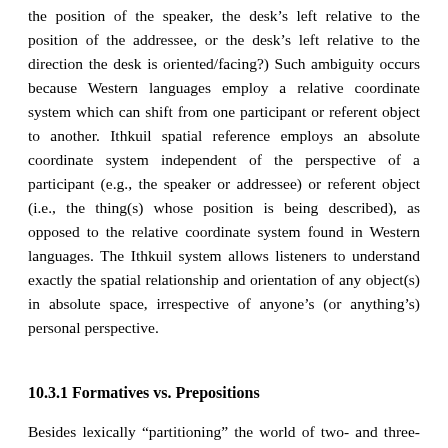the position of the speaker, the desk's left relative to the position of the addressee, or the desk's left relative to the direction the desk is oriented/facing?) Such ambiguity occurs because Western languages employ a relative coordinate system which can shift from one participant or referent object to another. Ithkuil spatial reference employs an absolute coordinate system independent of the perspective of a participant (e.g., the speaker or addressee) or referent object (i.e., the thing(s) whose position is being described), as opposed to the relative coordinate system found in Western languages. The Ithkuil system allows listeners to understand exactly the spatial relationship and orientation of any object(s) in absolute space, irrespective of anyone's (or anything's) personal perspective.
10.3.1 Formatives vs. Prepositions
Besides lexically “partitioning” the world of two- and three-dimensional space in different ways than in Western languages, Ithkuil has no prepositions. Rather, Ithkuil utilizes formatives, which themselves consider the object’s